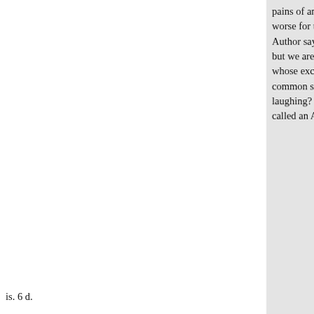pains of analysing it. plexity, and worse for the writer, it is altogeth Author says, he is much indebted but we are sorry to see the Drama. whose excellence seems to confi common sense. Mr. Edwin, wher laughing? The late Mr. Garrick h called an Actor of that class, the
the middle. On the whole, w interlard his dialogue with s pular, and the piece, not asp criticism.
Art. 32. The Travellers. A C
Applause at the English Rea rines. 8vo.
is. 6 d.